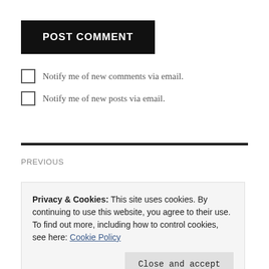POST COMMENT
Notify me of new comments via email.
Notify me of new posts via email.
PREVIOUS
Privacy & Cookies: This site uses cookies. By continuing to use this website, you agree to their use.
To find out more, including how to control cookies, see here: Cookie Policy
Close and accept
NEXT